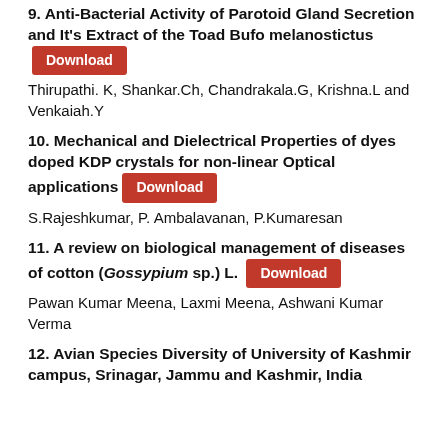9. Anti-Bacterial Activity of Parotoid Gland Secretion and It's Extract of the Toad Bufo melanostictus [Download]
Thirupathi. K, Shankar.Ch, Chandrakala.G, Krishna.L and Venkaiah.Y
10. Mechanical and Dielectrical Properties of dyes doped KDP crystals for non-linear Optical applications [Download]
S.Rajeshkumar, P. Ambalavanan, P.Kumaresan
11. A review on biological management of diseases of cotton (Gossypium sp.) L. [Download]
Pawan Kumar Meena, Laxmi Meena, Ashwani Kumar Verma
12. Avian Species Diversity of University of Kashmir campus, Srinagar, Jammu and Kashmir, India